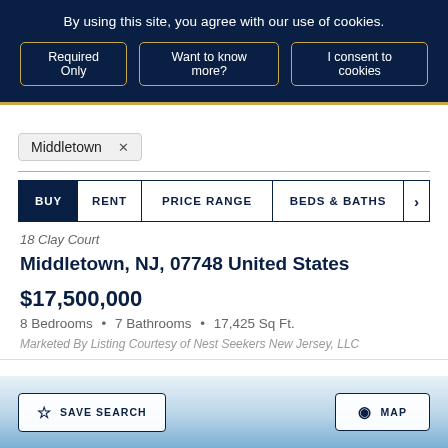By using this site, you agree with our use of cookies.
Required Only | Want to know more? | I consent to cookies
Middletown ×
BUY  RENT  PRICE RANGE  BEDS & BATHS
18 Clay Court
Middletown, NJ, 07748 United States
$17,500,000
8 Bedrooms • 7 Bathrooms • 17,425 Sq Ft.
Marketed By Listing Courtesy of Nest Seekers New Jersey, LLC
SAVE SEARCH  MAP